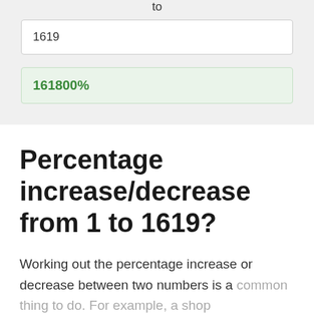to
1619
161800%
Percentage increase/decrease from 1 to 1619?
Working out the percentage increase or decrease between two numbers is a common thing to do. For example, a shop